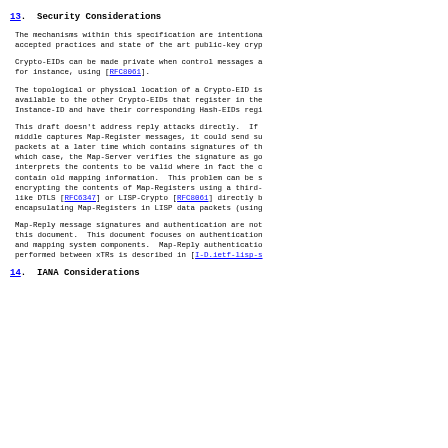13. Security Considerations
The mechanisms within this specification are intentionally accepted practices and state of the art public-key cryp
Crypto-EIDs can be made private when control messages a for instance, using [RFC8061].
The topological or physical location of a Crypto-EID is available to the other Crypto-EIDs that register in the Instance-ID and have their corresponding Hash-EIDs regi
This draft doesn't address reply attacks directly. If middle captures Map-Register messages, it could send su packets at a later time which contains signatures of th which case, the Map-Server verifies the signature as go interprets the contents to be valid where in fact the c contain old mapping information. This problem can be s encrypting the contents of Map-Registers using a third- like DTLS [RFC6347] or LISP-Crypto [RFC8061] directly b encapsulating Map-Registers in LISP data packets (using
Map-Reply message signatures and authentication are not this document. This document focuses on authentication and mapping system components. Map-Reply authenticatio performed between xTRs is described in [I-D.ietf-lisp-s
14. IANA Considerations